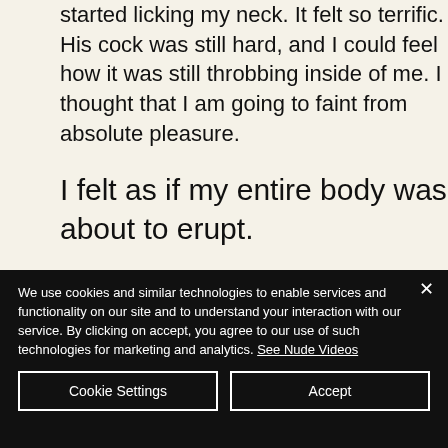started licking my neck. It felt so terrific. His cock was still hard, and I could feel how it was still throbbing inside of me. I thought that I am going to faint from absolute pleasure.
I felt as if my entire body was about to erupt.
We use cookies and similar technologies to enable services and functionality on our site and to understand your interaction with our service. By clicking on accept, you agree to our use of such technologies for marketing and analytics. See Nude Videos
Cookie Settings
Accept